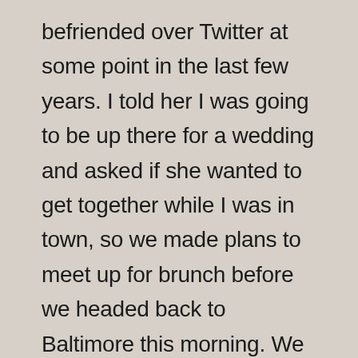befriended over Twitter at some point in the last few years. I told her I was going to be up there for a wedding and asked if she wanted to get together while I was in town, so we made plans to meet up for brunch before we headed back to Baltimore this morning. We had a lovely brunch with her and her husband before heading home. It was great to get to meet her person finally. Even though she's a librarian, she is what we in the profession call a special librarian meaning she doesn't work in a public library, university library, or school library. They tend to run in different conference circles than the rest of us, so we don't generally attend the same conferences, which is